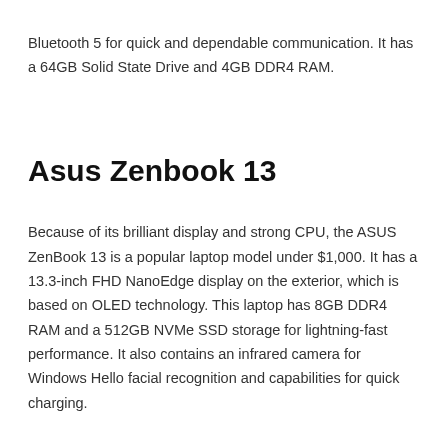Bluetooth 5 for quick and dependable communication. It has a 64GB Solid State Drive and 4GB DDR4 RAM.
Asus Zenbook 13
Because of its brilliant display and strong CPU, the ASUS ZenBook 13 is a popular laptop model under $1,000. It has a 13.3-inch FHD NanoEdge display on the exterior, which is based on OLED technology. This laptop has 8GB DDR4 RAM and a 512GB NVMe SSD storage for lightning-fast performance. It also contains an infrared camera for Windows Hello facial recognition and capabilities for quick charging.